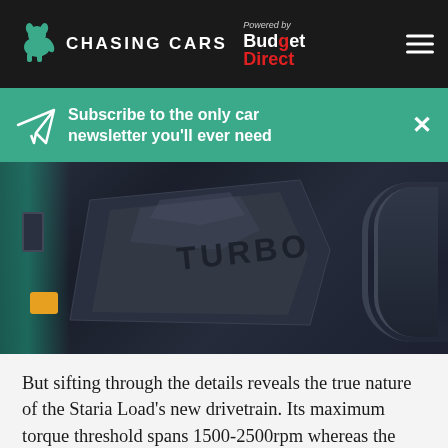CHASING CARS — Powered by Budget Direct
Subscribe to the only car newsletter you'll ever need
[Figure (photo): Close-up photo of a turbocharged engine cover with 'TURBO' lettering, showing black engine components including intake hoses]
But sifting through the details reveals the true nature of the Staria Load's new drivetrain. Its maximum torque threshold spans 1500-2500rpm whereas the iLoad auto peaked from 2000-